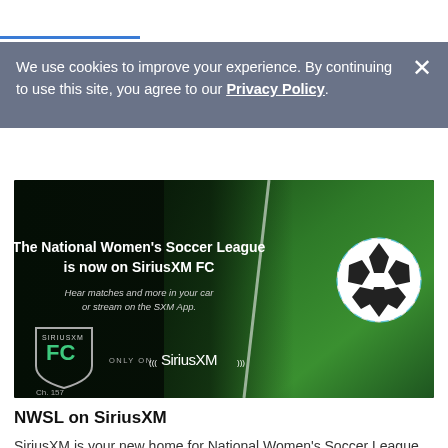We use cookies to improve your experience. By continuing to use this site, you agree to our Privacy Policy.
[Figure (illustration): Advertisement banner for NWSL on SiriusXM FC. Dark background with green grass field and soccer ball on right side. Text reads: 'The National Women's Soccer League is now on SiriusXM FC. Hear matches and more in your car or stream on the SXM App.' Features SiriusXM FC logo (Ch. 157) and SiriusXM wordmark.]
NWSL on SiriusXM
SiriusXM is your new home for National Women's Soccer League (NWSL) action! Hear live broadcasts of NWSL matches on the SiriusXM FC (Ch. 157) channel and the SXM App from the NWSL Game of the Week through the